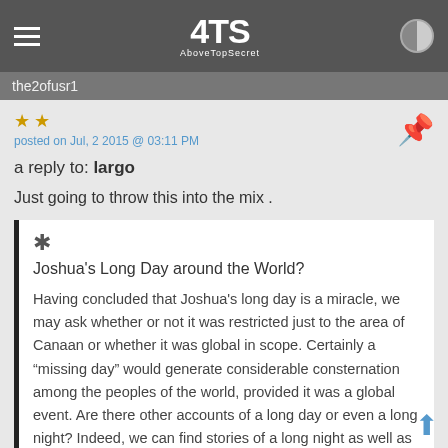ATS AboveTopSecret
the2ofusr1
posted on Jul, 2 2015 @ 03:11 PM
a reply to: largo
Just going to throw this into the mix .
Joshua's Long Day around the World?
Having concluded that Joshua's long day is a miracle, we may ask whether or not it was restricted just to the area of Canaan or whether it was global in scope. Certainly a "missing day" would generate considerable consternation among the peoples of the world, provided it was a global event. Are there other accounts of a long day or even a long night? Indeed, we can find stories of a long night as well as a long day. We can even find tales where the sun hung near the horizon for a long time. All